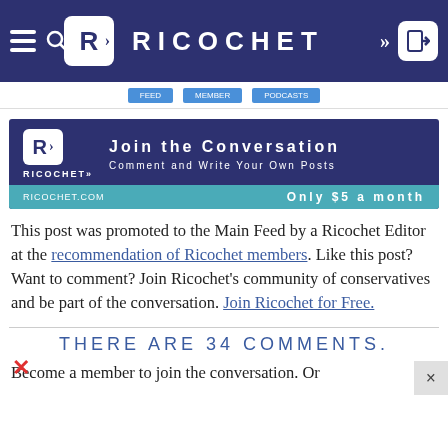RICOCHET
[Figure (screenshot): Ricochet website navigation header with hamburger menu, search icon, Ricochet logo and name, chevrons, and login button on dark navy background]
[Figure (infographic): Ricochet advertisement banner: Join the Conversation, Comment and Write Your Own Posts, Only $5 a month, ricochet.com]
This post was promoted to the Main Feed by a Ricochet Editor at the recommendation of Ricochet members. Like this post? Want to comment? Join Ricochet's community of conservatives and be part of the conversation. Join Ricochet for Free.
THERE ARE 34 COMMENTS.
Become a member to join the conversation. Or